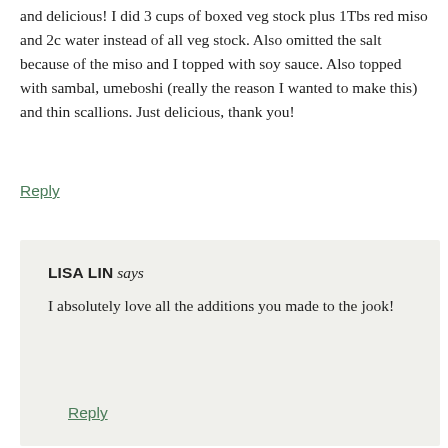and delicious! I did 3 cups of boxed veg stock plus 1Tbs red miso and 2c water instead of all veg stock. Also omitted the salt because of the miso and I topped with soy sauce. Also topped with sambal, umeboshi (really the reason I wanted to make this) and thin scallions. Just delicious, thank you!
Reply
LISA LIN says
I absolutely love all the additions you made to the jook!
Reply